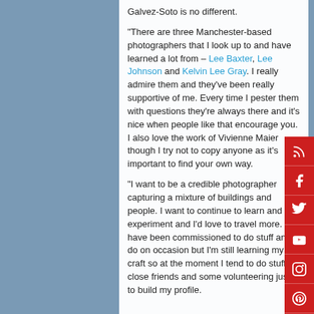Galvez-Soto is no different.
“There are three Manchester-based photographers that I look up to and have learned a lot from – Lee Baxter, Lee Johnson and Kelvin Lee Gray. I really admire them and they’ve been really supportive of me. Every time I pester them with questions they’re always there and it’s nice when people like that encourage you. I also love the work of Vivienne Maier though I try not to copy anyone as it’s important to find your own way.
“I want to be a credible photographer capturing a mixture of buildings and people. I want to continue to learn and experiment and I’d love to travel more. I have been commissioned to do stuff and I do on occasion but I’m still learning my craft so at the moment I tend to do stuff for close friends and some volunteering just to build my profile.